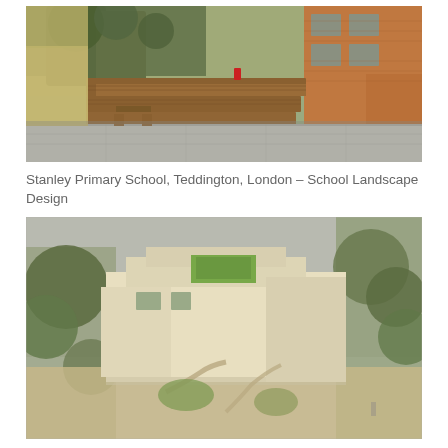[Figure (photo): Outdoor school courtyard with wooden decking platforms, picnic benches under trees, brick building on the right, paved area in foreground]
Stanley Primary School, Teddington, London – School Landscape Design
[Figure (photo): Architectural 3D render of a modern single-storey building with flat roof, green roof garden area, surrounded by mature trees and landscaped gardens with paths]
Adiscombe Road, Croydon, London – Landscape Design